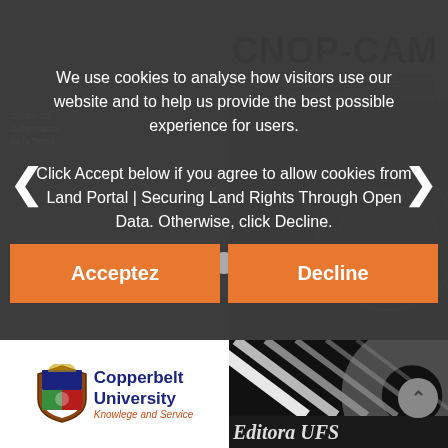[Figure (screenshot): Website cookie consent overlay on top of a dark slider showing CNOP-CAM logo and other partner logos in the background. Carousel navigation arrows and dots are visible.]
We use cookies to analyse how visitors use our website and to help us provide the best possible experience for users.
Click Accept below if you agree to allow cookies from Land Portal | Securing Land Rights Through Open Data. Otherwise, click Decline.
[Figure (logo): Acceptez button (orange) and Decline button (orange)]
[Figure (logo): Copperbelt University logo with shield and tagline 'Knowlege and Service']
[Figure (logo): Editora UFS logo with diagonal black and white lines pattern and text 'Editora UFS']